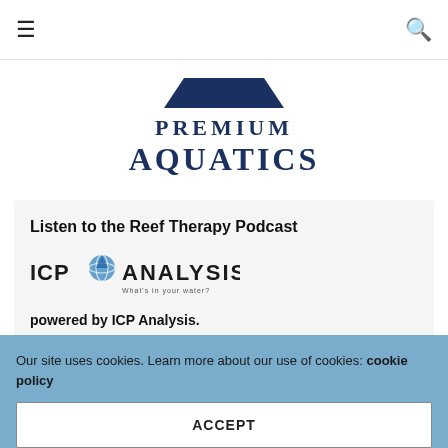≡ [Premium Aquatics site header] 🔍
[Figure (logo): Premium Aquatics logo: trapezoid/hat shape above two lines of text reading PREMIUM AQUATICS in dark navy serif font]
Listen to the Reef Therapy Podcast
[Figure (logo): ICP Analysis logo: text ICP with water drop icon and globe, followed by ANALYSIS and tagline What's in your water?]
powered by ICP Analysis.
[Figure (other): Purple circular play button icon]
Reef Therapy by Reef Builders
Navigating the Ultimate Guide to...
Our site uses cookies. Learn more about our use of cookies: cookie policy
ACCEPT